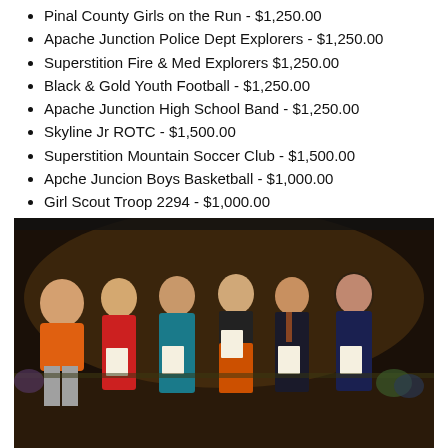Pinal County Girls on the Run - $1,250.00
Apache Junction Police Dept Explorers - $1,250.00
Superstition Fire & Med Explorers $1,250.00
Black & Gold Youth Football - $1,250.00
Apache Junction High School Band - $1,250.00
Skyline Jr ROTC - $1,500.00
Superstition Mountain Soccer Club - $1,500.00
Apche Juncion Boys Basketball - $1,000.00
Girl Scout Troop 2294 - $1,000.00
Apache Junction High School Volleyball - $500.00
[Figure (photo): Six people standing on a stage holding certificates; one adult in an orange t-shirt and five students dressed formally, smiling for the camera at what appears to be an awards ceremony.]